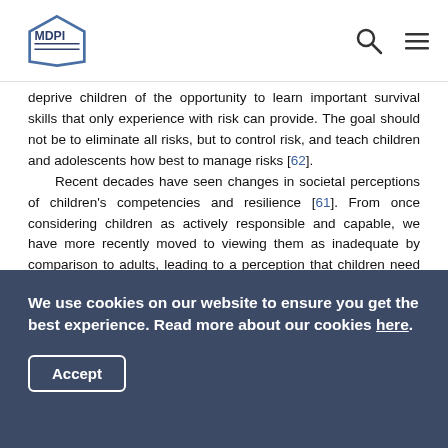MDPI
deprive children of the opportunity to learn important survival skills that only experience with risk can provide. The goal should not be to eliminate all risks, but to control risk, and teach children and adolescents how best to manage risks [62].
Recent decades have seen changes in societal perceptions of children's competencies and resilience [61]. From once considering children as actively responsible and capable, we have more recently moved to viewing them as inadequate by comparison to adults, leading to a perception that children need to be protected from their own inadequacies [10,63]. These trends have contributed to placing limits on children's exploration and access to outdoor free play opportunities
We use cookies on our website to ensure you get the best experience. Read more about our cookies here.
Accept